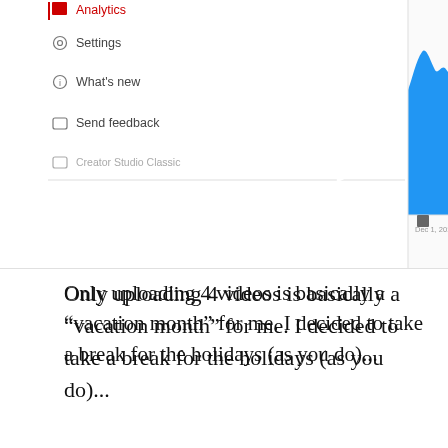[Figure (screenshot): YouTube Creator Studio Analytics screenshot showing a sidebar menu with Analytics (highlighted in red), Settings (gear icon), What's new (info icon), Send feedback (speech bubble icon), Creator Studio Classic (picture icon), and a blue area chart showing views over time from Dec 1, 2018 to Dec 11, 2018 with video markers.]
Only uploading 4 videos is basically a “vacation month” for me. I decided to take a break for the holidays (as you do)...
But here’s the crazy thing:
The 4 videos I uploaded all got less than 1,000 views in December...
And the worst part is, most gaming YouTubers